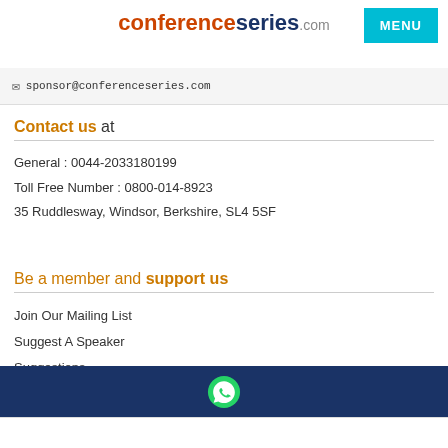conferenceseries.com MENU
sponsor@conferenceseries.com
Contact us at
General : 0044-2033180199
Toll Free Number : 0800-014-8923
35 Ruddlesway, Windsor, Berkshire, SL4 5SF
Be a member and support us
Join Our Mailing List
Suggest A Speaker
Suggestions
Invite Proposals